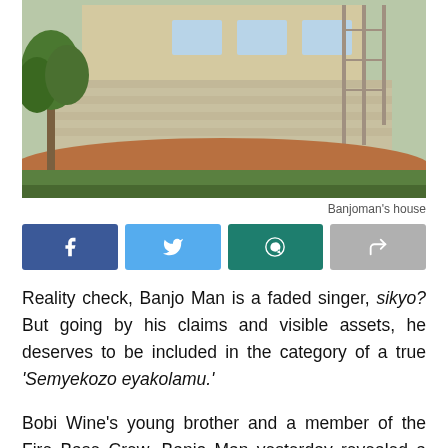[Figure (photo): Exterior view of Banjoman's multi-story house under construction, with brick walls, wooden scaffolding, trees and red soil in the foreground]
Banjoman's house
[Figure (infographic): Social media share buttons: Facebook (dark blue), Twitter (light blue), WhatsApp (dark teal), Share (grey)]
Reality check, Banjo Man is a faded singer, sikyo? But going by his claims and visible assets, he deserves to be included in the category of a true ‘Semyekozo eyakolamu.’
Bobi Wine’s young brother and a member of the Fire Base Crew, Banjo Man yesterday revealed a shocker